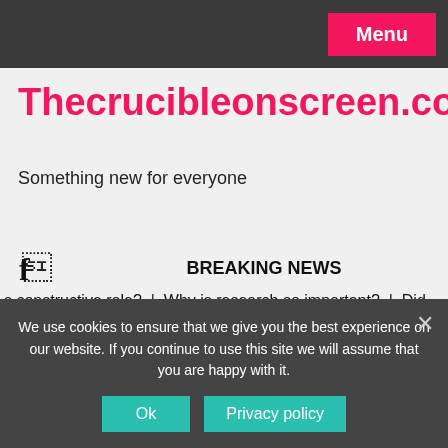Menu
Thecrucibleonscreen.com
Something new for everyone
BREAKING NEWS
s constructive role?  |  Why is research so important?  |  Did .
30/08/2022
We use cookies to ensure that we give you the best experience on our website. If you continue to use this site we will assume that you are happy with it.